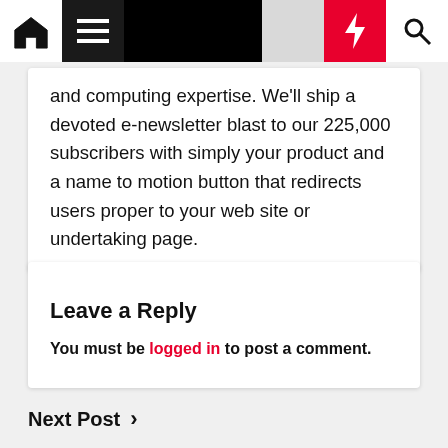Navigation bar with home, menu, moon, lightning, and search icons
and computing expertise. We'll ship a devoted e-newsletter blast to our 225,000 subscribers with simply your product and a name to motion button that redirects users proper to your web site or undertaking page.
Leave a Reply
You must be logged in to post a comment.
Next Post ›